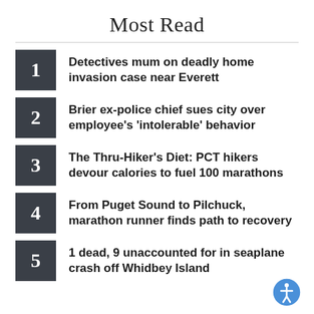Most Read
Detectives mum on deadly home invasion case near Everett
Brier ex-police chief sues city over employee's 'intolerable' behavior
The Thru-Hiker's Diet: PCT hikers devour calories to fuel 100 marathons
From Puget Sound to Pilchuck, marathon runner finds path to recovery
1 dead, 9 unaccounted for in seaplane crash off Whidbey Island